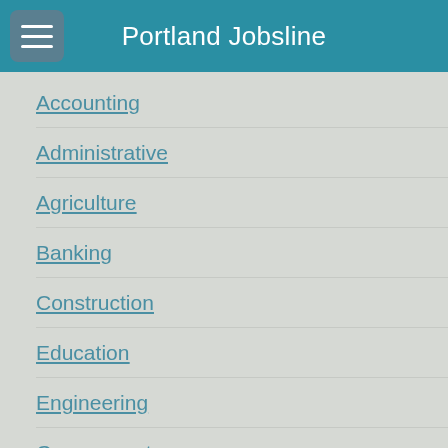Portland Jobsline
Accounting
Administrative
Agriculture
Banking
Construction
Education
Engineering
Government
Healthcare
Hospitality
Human Resources
Information Technology